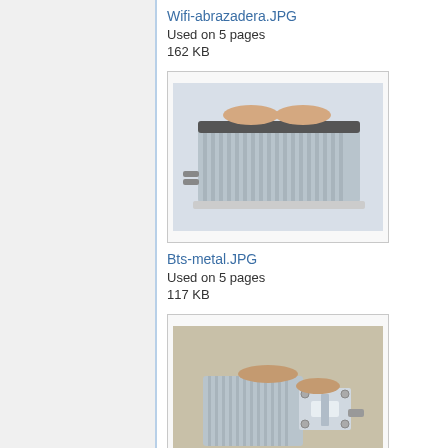Wifi-abrazadera.JPG
Used on 5 pages
162 KB
[Figure (photo): Photo of hands holding a gray rectangular electronic enclosure/WiFi device, viewed from above on an outdoor surface.]
Bts-metal.JPG
Used on 5 pages
117 KB
[Figure (photo): Photo of hands installing a metal bracket/clamp on a gray electronic enclosure on an outdoor surface.]